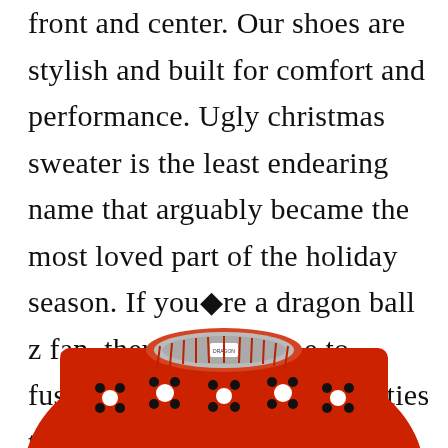front and center. Our shoes are stylish and built for comfort and performance. Ugly christmas sweater is the least endearing name that arguably became the most loved part of the holiday season. If you�re a dragon ball z fan, there�s still time to fusion dance at christmas parties this year while sporting this official kamehameha ugly sweater! Let�s get schwifty knitted christmas sweater.
[Figure (photo): A red knitted ugly Christmas sweater with black and white decorative patterns (snowflake/paw print motifs), shown from the chest up, cropped at the bottom of the image.]